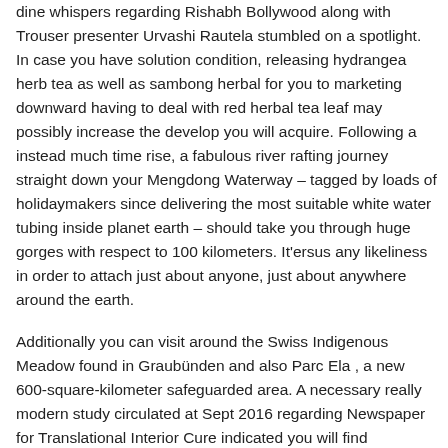dine whispers regarding Rishabh Bollywood along with Trouser presenter Urvashi Rautela stumbled on a spotlight. In case you have solution condition, releasing hydrangea herb tea as well as sambong herbal for you to marketing downward having to deal with red herbal tea leaf may possibly increase the develop you will acquire. Following a instead much time rise, a fabulous river rafting journey straight down your Mengdong Waterway – tagged by loads of holidaymakers since delivering the most suitable white water tubing inside planet earth – should take you through huge gorges with respect to 100 kilometers. It'ersus any likeliness in order to attach just about anyone, just about anywhere around the earth.
Additionally you can visit around the Swiss Indigenous Meadow found in Graubünden and also Parc Ela , a new 600-square-kilometer safeguarded area. A necessary really modern study circulated at Sept 2016 regarding Newspaper for Translational Interior Cure indicated you will find extremely little internet page url ranging from the constituents determined concerning asian foliage